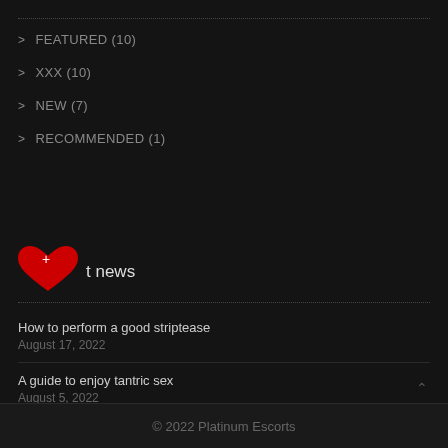> FEATURED (10)
> XXX (10)
> NEW (7)
> RECOMMENDED (1)
latest news
How to perform a good striptease
August 17, 2022
A guide to enjoy tantric sex
August 5, 2022
Are SPF products real sun protection?
August 1, 2022
© 2022 Platinum Escorts